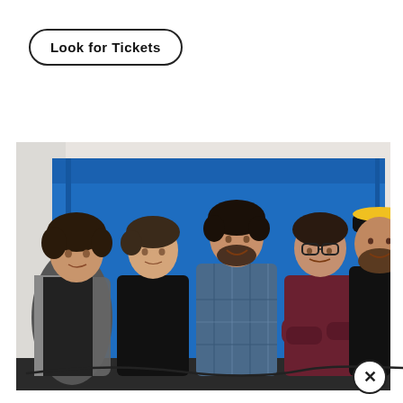Look for Tickets
[Figure (photo): Five young men posing in front of a bright blue wall/door. From left to right: a man with curly hair in a graphic t-shirt and grey jacket; a young man in a black t-shirt; a man in a plaid flannel shirt smiling; a man with glasses in a dark red/maroon button-up shirt with arms crossed; a bearded man in a black t-shirt wearing a black and yellow cap. The mood is casual and jovial.]